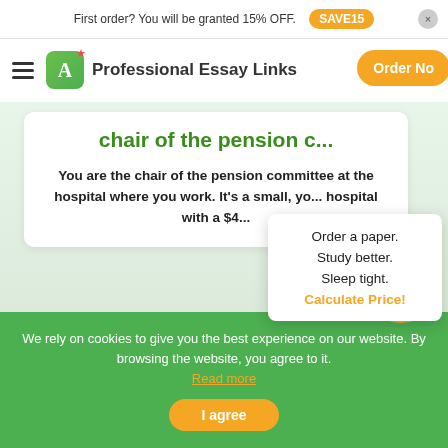First order? You will be granted 15% OFF. SAVE15
[Figure (logo): Professional Essay Links logo with green A+ icon and hamburger menu and orange Order Now button]
chair of the pension c...
You are the chair of the pension committee at the hospital where you work. It's a small, yo... hospital with a $4...
Order a paper. Study better. Sleep tight. Calculate Price!
[Figure (illustration): Orange circle with white calculator icon]
We rely on cookies to give you the best experience on our website. By browsing the website, you agree to it. Read more
I agree